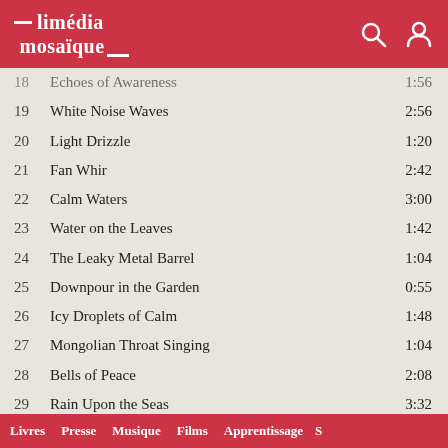— limédia mosaïque __
18   Echoes of Awareness   1:56
19   White Noise Waves   2:56
20   Light Drizzle   1:20
21   Fan Whir   2:42
22   Calm Waters   3:00
23   Water on the Leaves   1:42
24   The Leaky Metal Barrel   1:04
25   Downpour in the Garden   0:55
26   Icy Droplets of Calm   1:48
27   Mongolian Throat Singing   1:04
28   Bells of Peace   2:08
29   Rain Upon the Seas   3:32
30   Constant Breeze   3:32
31   Natures Soothing Call   3:46
32   The Dawn Chorus of Binaural Beats   1:04
33   Caught in the Downpour   0:48
34   Almost Silent but Violent   3:56
35   Peaceful Spirit   2:08
36   Faint Chirping Through the Storm   1:04
37   Grumbling Fan   3:00
Livres   Presse   Musique   Films   Apprentissage   S